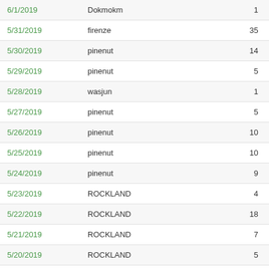| Date | Name | Count |
| --- | --- | --- |
| 6/1/2019 | Dokmokm | 1 |
| 5/31/2019 | firenze | 35 |
| 5/30/2019 | pinenut | 14 |
| 5/29/2019 | pinenut | 5 |
| 5/28/2019 | wasjun | 1 |
| 5/27/2019 | pinenut | 5 |
| 5/26/2019 | pinenut | 10 |
| 5/25/2019 | pinenut | 10 |
| 5/24/2019 | pinenut | 9 |
| 5/23/2019 | ROCKLAND | 4 |
| 5/22/2019 | ROCKLAND | 18 |
| 5/21/2019 | ROCKLAND | 7 |
| 5/20/2019 | ROCKLAND | 5 |